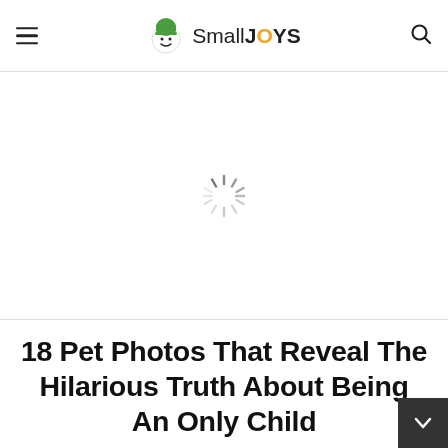SmallJOYS
[Figure (other): Loading spinner / advertisement placeholder area showing a spinning loader icon on white background]
18 Pet Photos That Reveal The Hilarious Truth About Being An Only Child